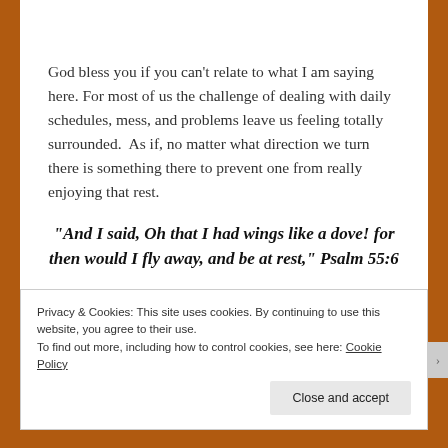God bless you if you can't relate to what I am saying here. For most of us the challenge of dealing with daily schedules, mess, and problems leave us feeling totally surrounded.  As if, no matter what direction we turn there is something there to prevent one from really enjoying that rest.
“And I said, Oh that I had wings like a dove! for then would I fly away, and be at rest,” Psalm 55:6
Privacy & Cookies: This site uses cookies. By continuing to use this website, you agree to their use.
To find out more, including how to control cookies, see here: Cookie Policy